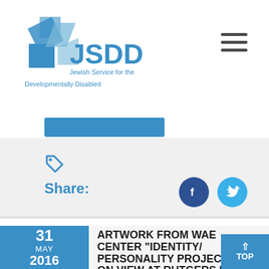[Figure (logo): JSDD Jewish Service for the Developmentally Disabled logo with blue geometric shapes]
Share:
[Figure (infographic): Facebook and Twitter social share buttons (blue circles with f and bird icons)]
ARTWORK FROM WAE CENTER “IDENTITY/PERSONALITY PROJECT” ON VIEW AT RUTGERS NJ MEDICAL SCHOOL ANNUAL COLLABORATIVE ART
31 MAY 2016